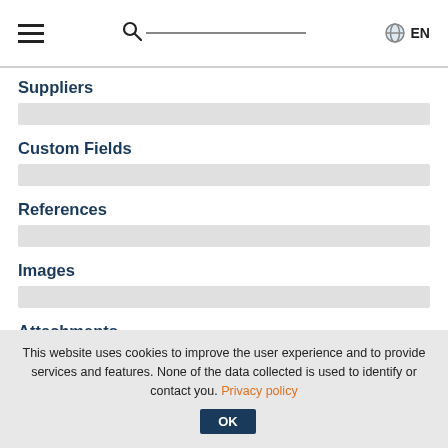≡  🔍  EN
Suppliers
Custom Fields
References
Images
Attachments
Taking items out of service using the exchange function L
This website uses cookies to improve the user experience and to provide services and features. None of the data collected is used to identify or contact you. Privacy policy  OK